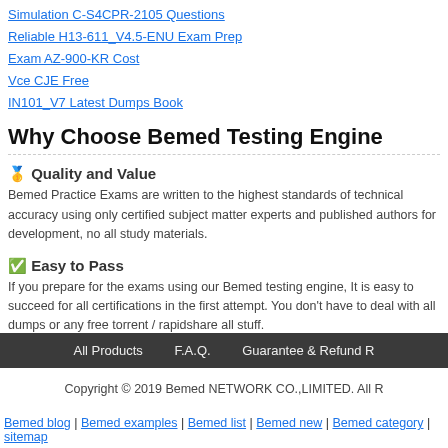Simulation C-S4CPR-2105 Questions
Reliable H13-611_V4.5-ENU Exam Prep
Exam AZ-900-KR Cost
Vce CJE Free
IN101_V7 Latest Dumps Book
Why Choose Bemed Testing Engine
🥇 Quality and Value
Bemed Practice Exams are written to the highest standards of technical accuracy using only certified subject matter experts and published authors for development, no all study materials.
✅ Easy to Pass
If you prepare for the exams using our Bemed testing engine, It is easy to succeed for all certifications in the first attempt. You don't have to deal with all dumps or any free torrent / rapidshare all stuff.
All Products   F.A.Q.   Guarantee & Refund R...
Copyright © 2019 Bemed NETWORK CO.,LIMITED. All R...
Bemed blog | Bemed examples | Bemed list | Bemed new | Bemed category | sitemap